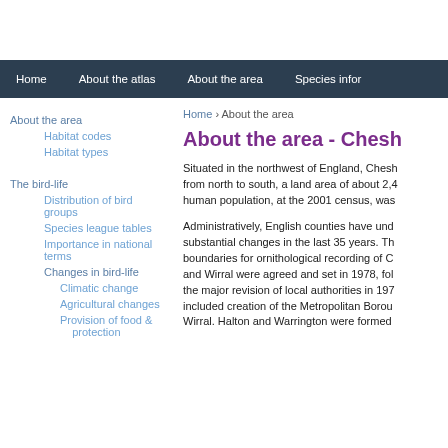Home | About the atlas | About the area | Species info
Home › About the area
About the area - Chesh
About the area
Habitat codes
Habitat types
The bird-life
Distribution of bird groups
Species league tables
Importance in national terms
Changes in bird-life
Climatic change
Agricultural changes
Provision of food & protection
Situated in the northwest of England, Chesh from north to south, a land area of about 2,4 human population, at the 2001 census, was
Administratively, English counties have und substantial changes in the last 35 years. Th boundaries for ornithological recording of C and Wirral were agreed and set in 1978, fol the major revision of local authorities in 197 included creation of the Metropolitan Borou Wirral. Halton and Warrington were formed